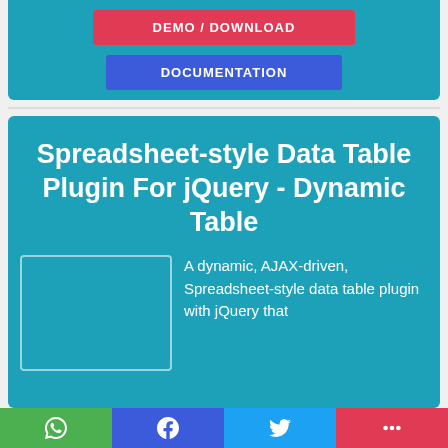[Figure (screenshot): Top teal card (partial) with DEMO/DOWNLOAD red button and DOCUMENTATION blue button]
Spreadsheet-style Data Table Plugin For jQuery - Dynamic Table
A dynamic, AJAX-driven, Spreadsheet-style data table plugin with jQuery that...
[Figure (infographic): Social share bar with WhatsApp, Facebook, Twitter, and More buttons]